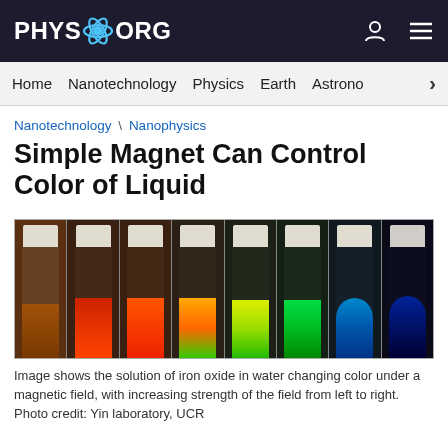PHYS.ORG
Home \ Nanotechnology \ Physics \ Earth \ Astronomy
Nanotechnology \ Nanophysics
Simple Magnet Can Control Color of Liquid
[Figure (photo): Eight glass vials containing iron oxide solution in water showing progressive color change from brown/orange on the left to blue/dark blue on the right as magnetic field strength increases.]
Image shows the solution of iron oxide in water changing color under a magnetic field, with increasing strength of the field from left to right. Photo credit: Yin laboratory, UCR